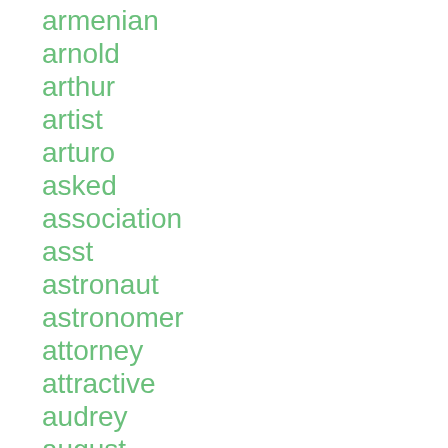armenian
arnold
arthur
artist
arturo
asked
association
asst
astronaut
astronomer
attorney
attractive
audrey
august
auguste
austrian